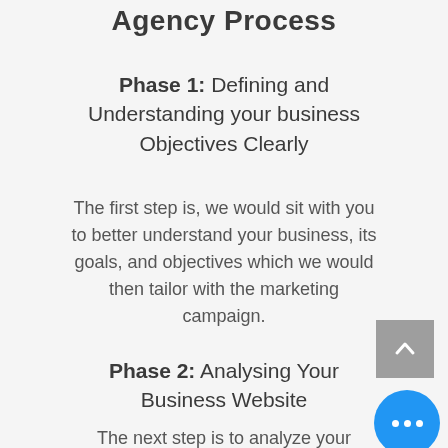Agency Process
Phase 1: Defining and Understanding your business Objectives Clearly
The first step is, we would sit with you to better understand your business, its goals, and objectives which we would then tailor with the marketing campaign.
Phase 2: Analysing Your Business Website
The next step is to analyze your